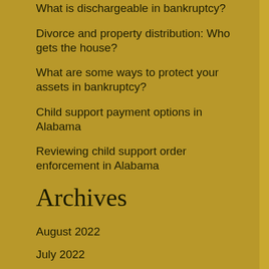What is dischargeable in bankruptcy?
Divorce and property distribution: Who gets the house?
What are some ways to protect your assets in bankruptcy?
Child support payment options in Alabama
Reviewing child support order enforcement in Alabama
Archives
August 2022
July 2022
June 2022
May 2022